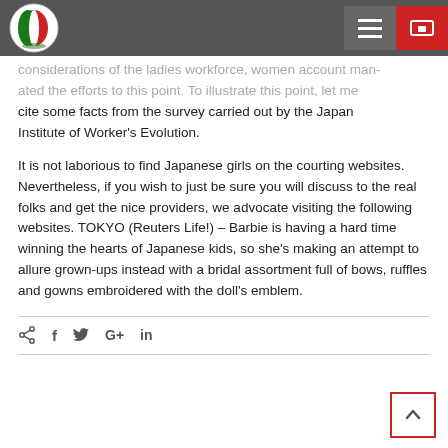[logo] [hamburger menu] [icon button]
considerations of the ladies workforce, women account man-dated the efforts to this point. To illustrate this point, let me cite some facts from the survey carried out by the Japan Institute of Worker's Evolution.
It is not laborious to find Japanese girls on the courting websites. Nevertheless, if you wish to just be sure you will discuss to the real folks and get the nice providers, we advocate visiting the following websites. TOKYO (Reuters Life!) – Barbie is having a hard time winning the hearts of Japanese kids, so she's making an attempt to allure grown-ups instead with a bridal assortment full of bows, ruffles and gowns embroidered with the doll's emblem.
< f t G+ in